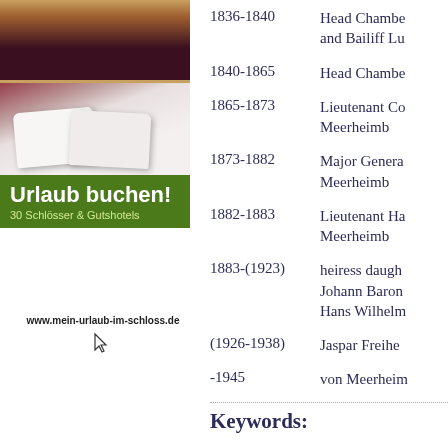[Figure (photo): Hotel room advertisement showing a bed with white pillows and dark headboard, with green banner reading 'Urlaub buchen! 30 Schlösser & Gutshotels' and URL www.mein-urlaub-im-schloss.de]
1836-1840	Head Chambe... and Bailiff Lu...
1840-1865	Head Chambe...
1865-1873	Lieutenant Co... Meerheimb
1873-1882	Major Genera... Meerheimb
1882-1883	Lieutenant Ha... Meerheimb
1883-(1923)	heiress daugh... Johann Baron... Hans Wilhelm...
(1926-1938)	Jaspar Freihe...
-1945	von Meerheim...
Keywords: